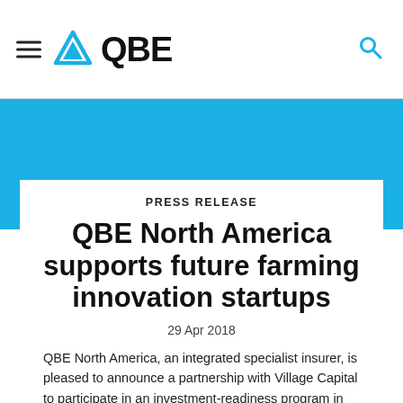QBE
PRESS RELEASE
QBE North America supports future farming innovation startups
29 Apr 2018
QBE North America, an integrated specialist insurer, is pleased to announce a partnership with Village Capital to participate in an investment-readiness program in support of 12 early-stage food and agriculture startups